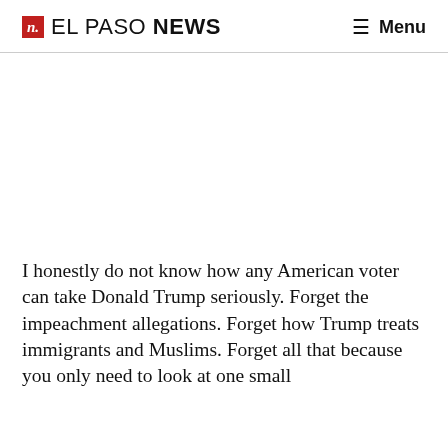n. EL PASO NEWS  ☰ Menu
I honestly do not know how any American voter can take Donald Trump seriously. Forget the impeachment allegations. Forget how Trump treats immigrants and Muslims. Forget all that because you only need to look at one small